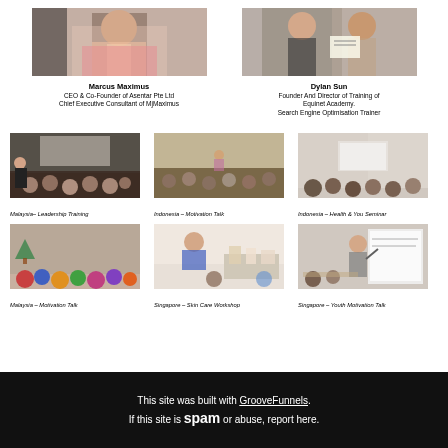[Figure (photo): Photo of Marcus Maximus]
Marcus Maximus
CEO & Co-Founder of Asentar Pte Ltd
Chief Executive Consultant of MjMaximus
[Figure (photo): Photo of Dylan Sun receiving certificate]
Dylan Sun
Founder And Director of Training of Equinet Academy.
Search Engine Optimisation Trainer
[Figure (photo): Malaysia – Leadership Training]
Malaysia– Leadership Training
[Figure (photo): Indonesia – Motivation Talk]
Indonesia – Motivation Talk
[Figure (photo): Indonesia – Health & You Seminar]
Indonesia – Health & You Seminar
[Figure (photo): Malaysia – Motivation Talk]
Malaysia – Motivation Talk
[Figure (photo): Singapore – Skin Care Workshop]
Singapore – Skin Care Workshop
[Figure (photo): Singapore – Youth Motivation Talk]
Singapore – Youth Motivation Talk
This site was built with GrooveFunnels. If this site is spam or abuse, report here.